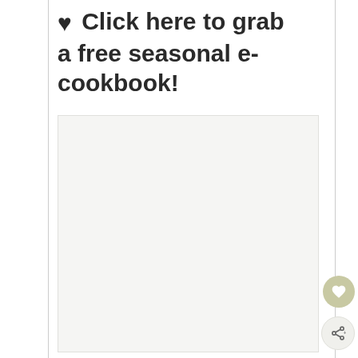🖤 Click here to grab a free seasonal e-cookbook!
[Figure (other): Large rectangular placeholder image area with light gray/off-white background inside a bordered content column]